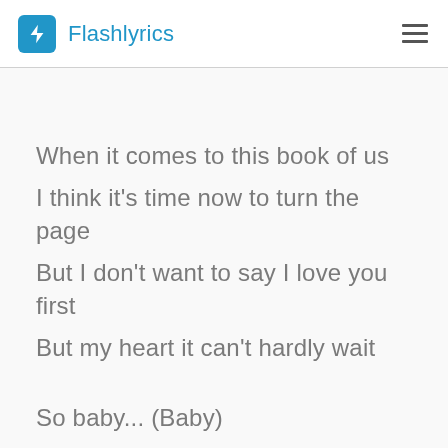Flashlyrics
When it comes to this book of us
I think it's time now to turn the page
But I don't want to say I love you first
But my heart it can't hardly wait
So baby... (Baby)